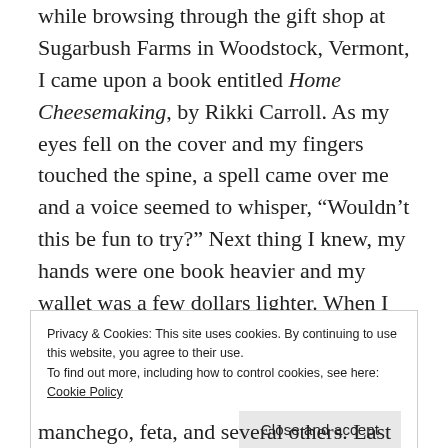while browsing through the gift shop at Sugarbush Farms in Woodstock, Vermont, I came upon a book entitled Home Cheesemaking, by Rikki Carroll. As my eyes fell on the cover and my fingers touched the spine, a spell came over me and a voice seemed to whisper, “Wouldn’t this be fun to try?” Next thing I knew, my hands were one book heavier and my wallet was a few dollars lighter. When I got home, I ordered the 30 Minute Mozzarella Kit from the New England Cheesemaking Supply Company and made my first batch of mozzarella. I’d love to be able to say that it was a smashing success that was enjoyed by one and all, but
Privacy & Cookies: This site uses cookies. By continuing to use this website, you agree to their use.
To find out more, including how to control cookies, see here: Cookie Policy
Close and accept
manchego, feta, and several others. Last January, I made